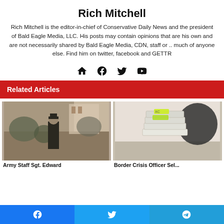Rich Mitchell
Rich Mitchell is the editor-in-chief of Conservative Daily News and the president of Bald Eagle Media, LLC. His posts may contain opinions that are his own and are not necessarily shared by Bald Eagle Media, CDN, staff or .. much of anyone else. Find him on twitter, facebook and GETTR
[Figure (other): Social media icon links: home, facebook, twitter, youtube]
Related Articles
[Figure (photo): Black and white photo of a man in military uniform standing outdoors in front of a building with tropical vegetation]
[Figure (photo): Photo of stacked packages with yellow/green labels on a floor near a wall]
Army Staff Sgt. Edward
Border Crisis Officer Sel...